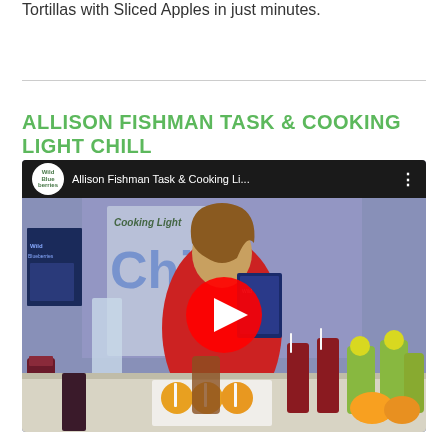Tortillas with Sliced Apples in just minutes.
ALLISON FISHMAN TASK & COOKING LIGHT CHILL
[Figure (screenshot): YouTube video thumbnail showing Allison Fishman Task & Cooking Li... with Wild Blueberries logo, a woman in a red top holding a blender jar surrounded by colorful drinks and food items on a table, with a red YouTube play button overlay]